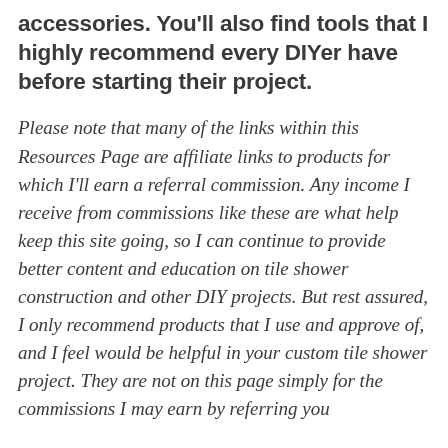accessories. You'll also find tools that I highly recommend every DIYer have before starting their project.
Please note that many of the links within this Resources Page are affiliate links to products for which I'll earn a referral commission. Any income I receive from commissions like these are what help keep this site going, so I can continue to provide better content and education on tile shower construction and other DIY projects. But rest assured, I only recommend products that I use and approve of, and I feel would be helpful in your custom tile shower project. They are not on this page simply for the commissions I may earn by referring you